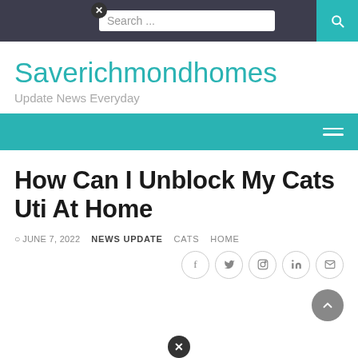Search ...
Saverichmondhomes
Update News Everyday
How Can I Unblock My Cats Uti At Home
JUNE 7, 2022   NEWS UPDATE   CATS   HOME